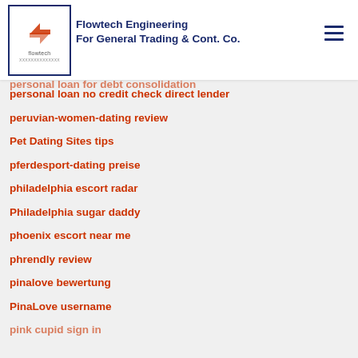Flowtech Engineering For General Trading & Cont. Co.
personal bank loans
personal loan for debt consolidation
personal loan no credit check direct lender
peruvian-women-dating review
Pet Dating Sites tips
pferdesport-dating preise
philadelphia escort radar
Philadelphia sugar daddy
phoenix escort near me
phrendly review
pinalove bewertung
PinaLove username
pink cupid sign in